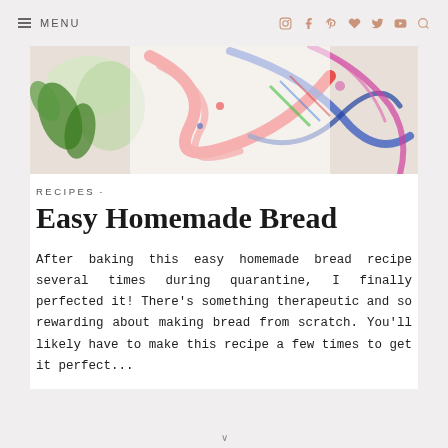≡ MENU
[Figure (photo): Colorful decorative fabric or textile with floral and swirling patterns in red, blue, green, pink on white background]
RECIPES -
Easy Homemade Bread
After baking this easy homemade bread recipe several times during quarantine, I finally perfected it! There's something therapeutic and so rewarding about making bread from scratch. You'll likely have to make this recipe a few times to get it perfect...